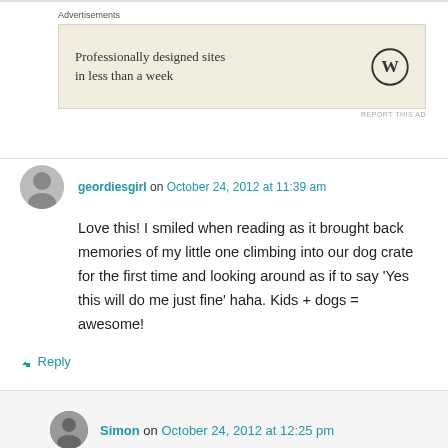[Figure (infographic): WordPress advertisement banner with text 'Professionally designed sites in less than a week' and WordPress logo]
geordiesgirl on October 24, 2012 at 11:39 am
Love this! I smiled when reading as it brought back memories of my little one climbing into our dog crate for the first time and looking around as if to say 'Yes this will do me just fine' haha. Kids + dogs = awesome!
↳ Reply
Simon on October 24, 2012 at 12:25 pm